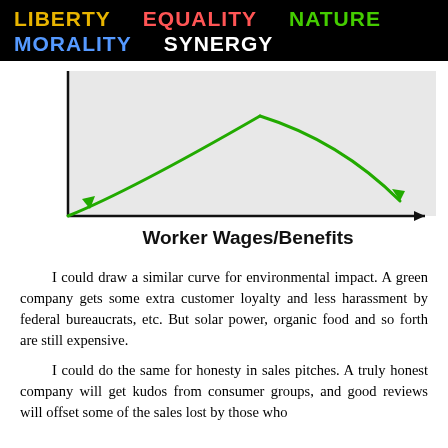LIBERTY   EQUALITY   NATURE   MORALITY   SYNERGY
[Figure (continuous-plot): A graph showing an inverted-V shaped green curve (two lines forming a peak) over a horizontal axis labeled 'Worker Wages/Benefits'. The vertical axis has no label. The green lines cross in a peak shape, with arrowheads pointing toward the x-axis label area, representing an optimum curve on worker wages/benefits.]
I could draw a similar curve for environmental impact. A green company gets some extra customer loyalty and less harassment by federal bureaucrats, etc. But solar power, organic food and so forth are still expensive.
I could do the same for honesty in sales pitches. A truly honest company will get kudos from consumer groups, and good reviews will offset some of the sales lost by those who